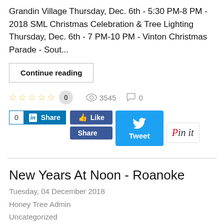Grandin Village Thursday, Dec. 6th - 5:30 PM-8 PM - 2018 SML Christmas Celebration & Tree Lighting Thursday, Dec. 6th - 7 PM-10 PM - Vinton Christmas Parade - Sout...
Continue reading
0  3545  0
[Figure (screenshot): Social sharing buttons: LinkedIn Share (count 0), Facebook Like and Share buttons, Twitter Tweet button, Pinterest Pin it button]
New Years At Noon - Roanoke
Tuesday, 04 December 2018
Honey Tree Admin
Uncategorized